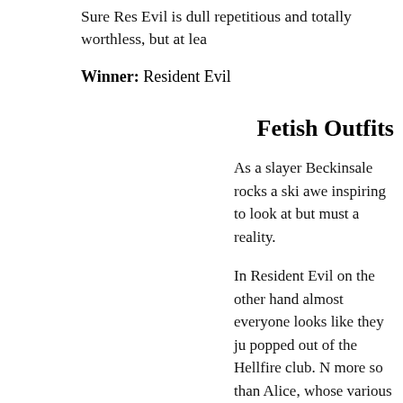Sure Res Evil is dull repetitious and totally worthless, but at lea
Winner: Resident Evil
Fetish Outfits
As a slayer Beckinsale rocks a ski awe inspiring to look at but must a reality.
In Resident Evil on the other hand almost everyone looks like they ju popped out of the Hellfire club. N more so than Alice, whose various outfits are almost always covered unnecessary buckles and pointless accessories.
Each movie has characters that lo